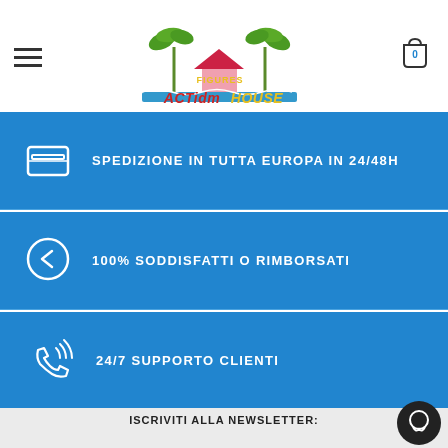[Figure (logo): Action Figures House logo with palm trees and pink house]
SPEDIZIONE IN TUTTA EUROPA IN 24/48H
100% SODDISFATTI O RIMBORSATI
24/7 SUPPORTO CLIENTI
ISCRIVITI ALLA NEWSLETTER:
INSERISCI LA TUA EMAIL